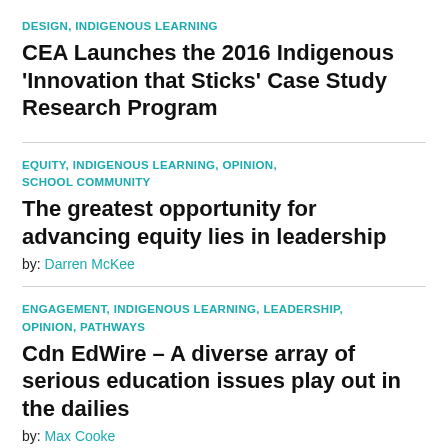DESIGN, INDIGENOUS LEARNING
CEA Launches the 2016 Indigenous 'Innovation that Sticks' Case Study Research Program
EQUITY, INDIGENOUS LEARNING, OPINION, SCHOOL COMMUNITY
The greatest opportunity for advancing equity lies in leadership
by: Darren McKee
ENGAGEMENT, INDIGENOUS LEARNING, LEADERSHIP, OPINION, PATHWAYS
Cdn EdWire – A diverse array of serious education issues play out in the dailies
by: Max Cooke